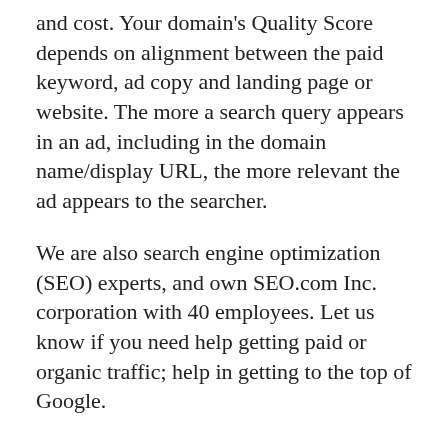and cost. Your domain's Quality Score depends on alignment between the paid keyword, ad copy and landing page or website. The more a search query appears in an ad, including in the domain name/display URL, the more relevant the ad appears to the searcher.
We are also search engine optimization (SEO) experts, and own SEO.com Inc. corporation with 40 employees. Let us know if you need help getting paid or organic traffic; help in getting to the top of Google.
Buy PublicSectorOndemand.com
[Figure (screenshot): Chat now widget button with speech bubble icon in green, white background, rounded top corners]